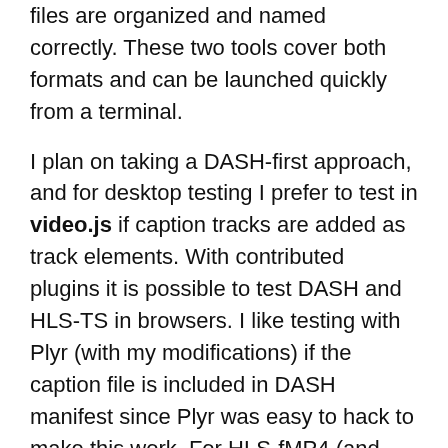files are organized and named correctly. These two tools cover both formats and can be launched quickly from a terminal.
I plan on taking a DASH-first approach, and for desktop testing I prefer to test in video.js if caption tracks are added as track elements. With contributed plugins it is possible to test DASH and HLS-TS in browsers. I like testing with Plyr (with my modifications) if the caption file is included in DASH manifest since Plyr was easy to hack to make this work. For HLS-fMP4 (and even HLS-TS) there’s really no substitute to testing on an iOS device (and for HLS-fMP4 on an iOS 10+ device) as the native player may be used in full screen mode.